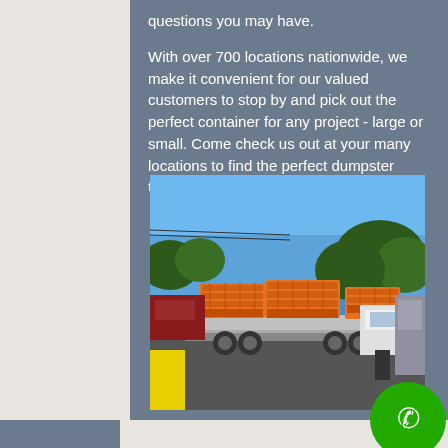questions you may have.
With over 700 locations nationwide, we make it convenient for our valued customers to stop by and pick out the perfect container for any project - large or small. Come check us out at your many locations to find the perfect dumpster today!
[Figure (photo): Orange dumpster containers loaded on a flatbed trailer truck in a parking lot with blue sky and trees in background. A white pickup truck is visible on the right side.]
[Figure (other): Green circular phone call button with white phone handset icon]